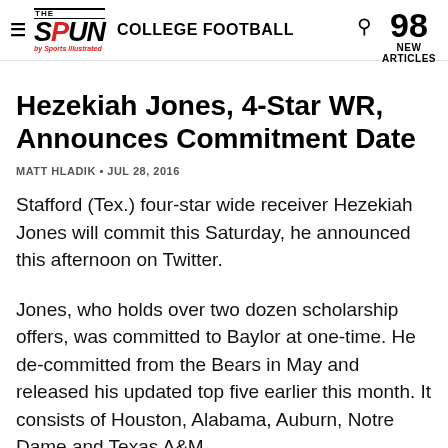THE SPUN by Sports Illustrated | COLLEGE FOOTBALL | 98 NEW ARTICLES
Hezekiah Jones, 4-Star WR, Announces Commitment Date
MATT HLADIK • JUL 28, 2016
Stafford (Tex.) four-star wide receiver Hezekiah Jones will commit this Saturday, he announced this afternoon on Twitter.
Jones, who holds over two dozen scholarship offers, was committed to Baylor at one-time. He de-committed from the Bears in May and released his updated top five earlier this month. It consists of Houston, Alabama, Auburn, Notre Dame and Texas A&M